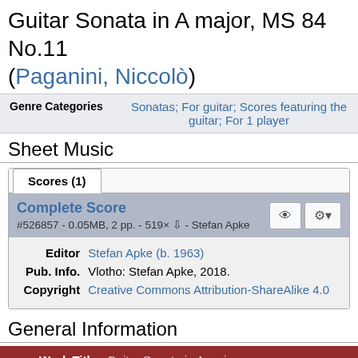Guitar Sonata in A major, MS 84 No.11 (Paganini, Niccolò)
| Genre Categories | Links |
| --- | --- |
| Genre Categories | Sonatas; For guitar; Scores featuring the guitar; For 1 player |
Sheet Music
Scores (1)
Complete Score
#526857 - 0.05MB, 2 pp. - 519× ⇩ - Stefan Apke
| Field | Value |
| --- | --- |
| Editor | Stefan Apke (b. 1963) |
| Pub. Info. | Vlotho: Stefan Apke, 2018. |
| Copyright | Creative Commons Attribution-ShareAlike 4.0 |
General Information
| Work Title | Value |
| --- | --- |
| Work Title | Guitar Sonata in A major |